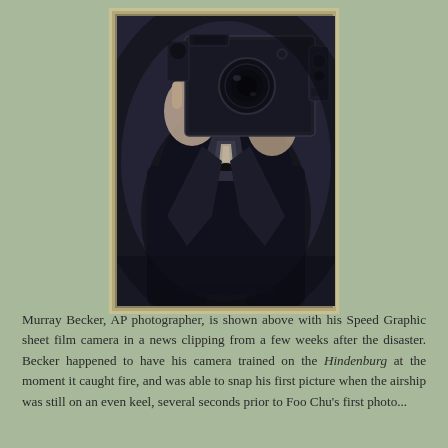[Figure (photo): Black and white newspaper clipping photo of Murray Becker, AP photographer, holding a Speed Graphic sheet film camera up to his face. The man is wearing a dark suit and the camera obscures most of his face. The image has a vintage, grainy quality consistent with 1930s newspaper photography.]
Murray Becker, AP photographer, is shown above with his Speed Graphic sheet film camera in a news clipping from a few weeks after the disaster. Becker happened to have his camera trained on the Hindenburg at the moment it caught fire, and was able to snap his first picture when the airship was still on an even keel, several seconds prior to Foo Chu's first photo...